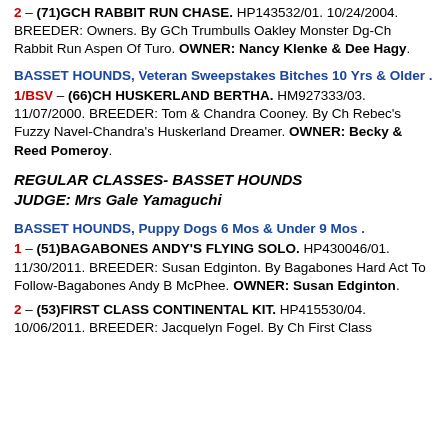2 – (71)GCH RABBIT RUN CHASE. HP143532/01. 10/24/2004. BREEDER: Owners. By GCh Trumbulls Oakley Monster Dg-Ch Rabbit Run Aspen Of Turo. OWNER: Nancy Klenke & Dee Hagy.
BASSET HOUNDS, Veteran Sweepstakes Bitches 10 Yrs & Older .
1/BSV – (66)CH HUSKERLAND BERTHA. HM927333/03. 11/07/2000. BREEDER: Tom & Chandra Cooney. By Ch Rebec's Fuzzy Navel-Chandra's Huskerland Dreamer. OWNER: Becky & Reed Pomeroy.
REGULAR CLASSES- BASSET HOUNDS
JUDGE: Mrs Gale Yamaguchi
BASSET HOUNDS, Puppy Dogs 6 Mos & Under 9 Mos .
1 – (51)BAGABONES ANDY'S FLYING SOLO. HP430046/01. 11/30/2011. BREEDER: Susan Edginton. By Bagabones Hard Act To Follow-Bagabones Andy B McPhee. OWNER: Susan Edginton.
2 – (53)FIRST CLASS CONTINENTAL KIT. HP415530/04. 10/06/2011. BREEDER: Jacquelyn Fogel. By Ch First Class.